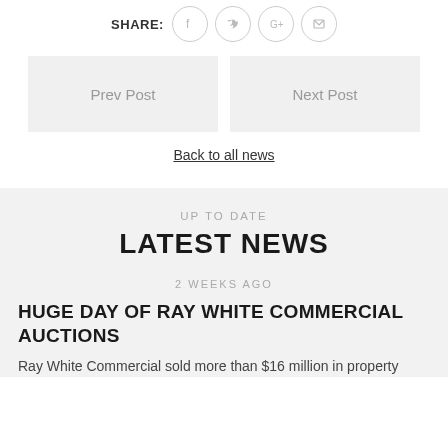SHARE:
[Figure (illustration): Social share icons: Facebook, Twitter, Google+, Email — circular outlined buttons]
Prev Post
Next Post
Back to all news
UP TO DATE
LATEST NEWS
2 WEEKS AGO
HUGE DAY OF RAY WHITE COMMERCIAL AUCTIONS
Ray White Commercial sold more than $16 million in property